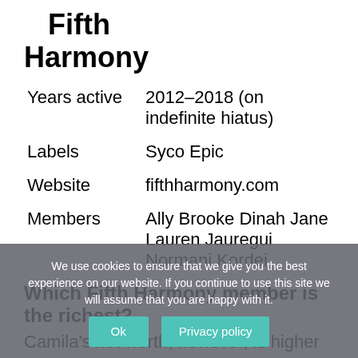Fifth Harmony
| Field | Value |
| --- | --- |
| Years active | 2012–2018 (on indefinite hiatus) |
| Labels | Syco Epic |
| Website | fifthharmony.com |
| Members | Ally Brooke Dinah Jane Lauren Jauregui Normani Kordei |
Which Fifth Harmony member is the richest?
Camila's net worth, however, is higher than all of the other Fifth Harmony members. The closest to her net worth is Normani, who is worth $4 million, according to Celebrity Net Worth. Camila's net worth includes the
We use cookies to ensure that we give you the best experience on our website. If you continue to use this site we will assume that you are happy with it.